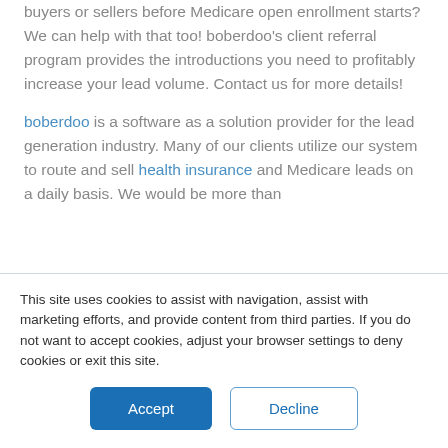buyers or sellers before Medicare open enrollment starts? We can help with that too! boberdoo's client referral program provides the introductions you need to profitably increase your lead volume. Contact us for more details!
boberdoo is a software as a solution provider for the lead generation industry. Many of our clients utilize our system to route and sell health insurance and Medicare leads on a daily basis. We would be more than
This site uses cookies to assist with navigation, assist with marketing efforts, and provide content from third parties. If you do not want to accept cookies, adjust your browser settings to deny cookies or exit this site.